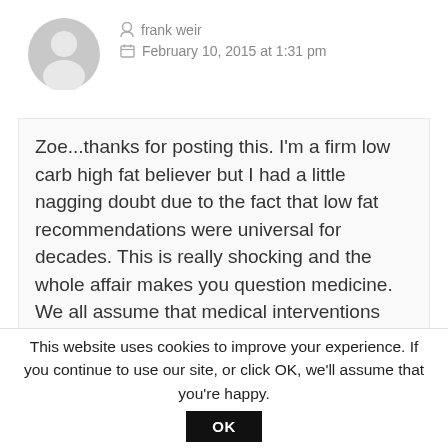[Figure (illustration): Grey circular default user avatar with silhouette of a person]
frank weir
February 10, 2015 at 1:31 pm
Zoe...thanks for posting this. I'm a firm low carb high fat believer but I had a little nagging doubt due to the fact that low fat recommendations were universal for decades. This is really shocking and the whole affair makes you question medicine. We all assume that medical interventions surely are based on solid scientific
This website uses cookies to improve your experience. If you continue to use our site, or click OK, we'll assume that you're happy.